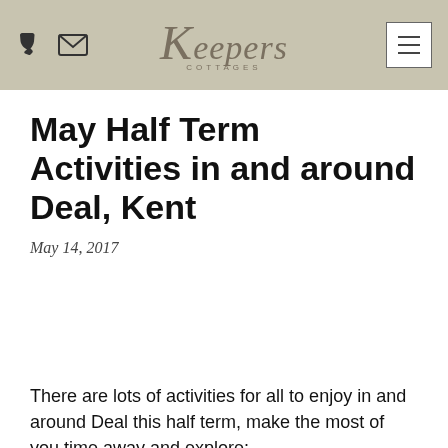Keepers Cottages
May Half Term Activities in and around Deal, Kent
May 14, 2017
There are lots of activities for all to enjoy in and around Deal this half term, make the most of you time away and explore: